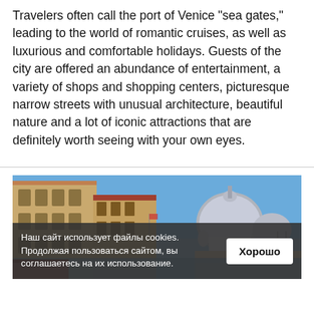Travelers often call the port of Venice "sea gates," leading to the world of romantic cruises, as well as luxurious and comfortable holidays. Guests of the city are offered an abundance of entertainment, a variety of shops and shopping centers, picturesque narrow streets with unusual architecture, beautiful nature and a lot of iconic attractions that are definitely worth seeing with your own eyes.
[Figure (photo): Photo of Venice canal scene showing historic buildings on the left and the domed Santa Maria della Salute basilica on the right under a clear blue sky.]
Наш сайт использует файлы cookies. Продолжая пользоваться сайтом, вы соглашаетесь на их использование.